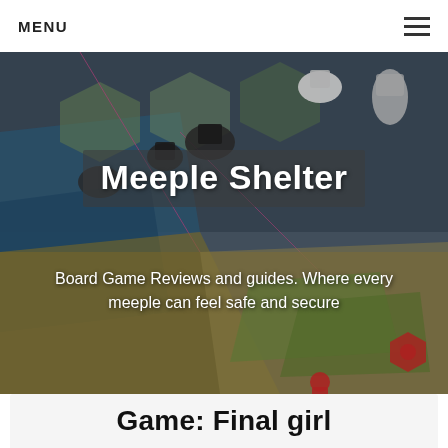MENU
[Figure (photo): Board game photo showing miniature figures and a colorful game board map, used as hero background image for Meeple Shelter website]
Meeple Shelter
Board Game Reviews and guides. Where every meeple can feel safe and secure
Game: Final girl